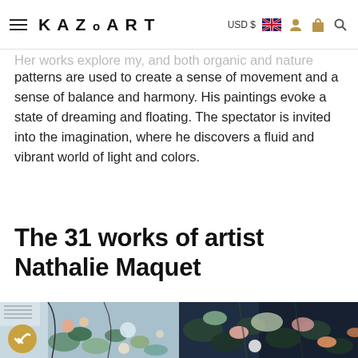KAZoART — USD $ [flag] [user] [bag] [search]
Her works explore my, and both organic and nature patterns are used to create a sense of movement and a sense of balance and harmony. His paintings evoke a state of dreaming and floating. The spectator is invited into the imagination, where he discovers a fluid and vibrant world of light and colors.
The 31 works of artist Nathalie Maquet
[Figure (photo): Two artwork paintings by Nathalie Maquet displayed side by side. Left: colorful mixed abstract botanical painting with blue/green tones, with a gold checkmark badge overlay. Right: dark botanical painting with flowers and leaves in dark navy, green, pink tones.]